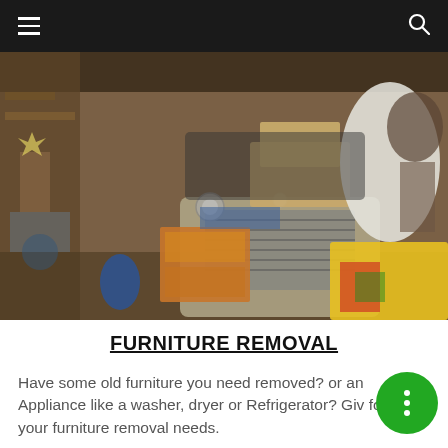Navigation bar with hamburger menu and search icon
[Figure (photo): A heavily cluttered garage or workshop filled with junk, an old car partially visible with boxes and miscellaneous items piled around and on top of it, colorful fabrics and bags visible on the right side.]
FURNITURE REMOVAL
Have some old furniture you need removed? or an Appliance like a washer, dryer or Refrigerator? Giv for your furniture removal needs.